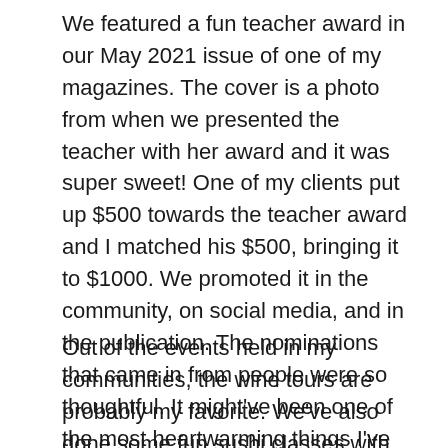We featured a fun teacher award in our May 2021 issue of one of my magazines. The cover is a photo from when we presented the teacher with her award and it was super sweet! One of my clients put up $500 towards the teacher award and I matched his $500, bringing it to $1000. We promoted it in the community, on social media, and in the publication. The nominations that came in from people were so thoughtful. It might've been one of the most heartwarming things I've ever done in the community. We will be doing it annually now as well as rolling it out in the other communities next school year.
Out of the events held in my communities, the wine tours are probably my favorite. We've also done some fun sushi classes with Sake experts, and an Omakase dinner. Those are always fun and people talk about these experiences for a long time after. It's more the vibe